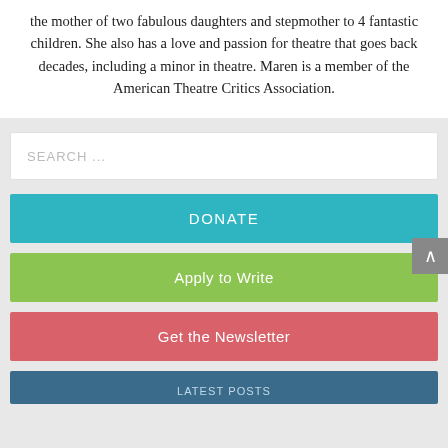the mother of two fabulous daughters and stepmother to 4 fantastic children. She also has a love and passion for theatre that goes back decades, including a minor in theatre. Maren is a member of the American Theatre Critics Association.
SEARCH ...
DONATE
Apply to Write
Get the Newsletter
LATEST POSTS